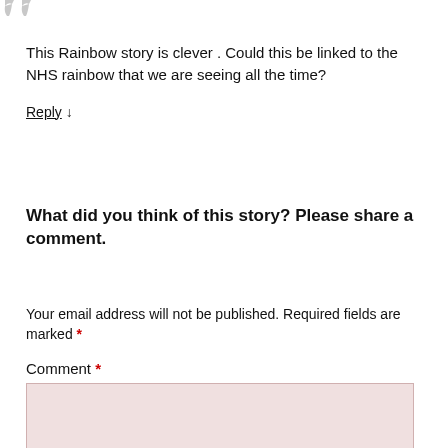[Figure (illustration): Partial avatar/silhouette image at top left]
This Rainbow story is clever . Could this be linked to the NHS rainbow that we are seeing all the time?
Reply ↓
What did you think of this story? Please share a comment.
Your email address will not be published. Required fields are marked *
Comment *